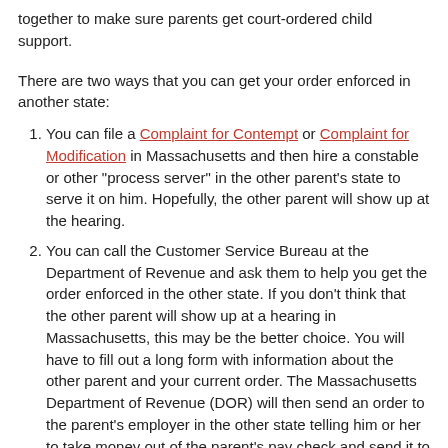together to make sure parents get court-ordered child support.
There are two ways that you can get your order enforced in another state:
1. You can file a Complaint for Contempt or Complaint for Modification in Massachusetts and then hire a constable or other "process server" in the other parent's state to serve it on him. Hopefully, the other parent will show up at the hearing.
2. You can call the Customer Service Bureau at the Department of Revenue and ask them to help you get the order enforced in the other state. If you don't think that the other parent will show up at a hearing in Massachusetts, this may be the better choice. You will have to fill out a long form with information about the other parent and your current order. The Massachusetts Department of Revenue (DOR) will then send an order to the parent's employer in the other state telling him or her to take money out of the parent's pay check and send it to DOR. If DOR does not have enough information about the other parent or the employer to do this, DOR will contact the child support agency in the other parent's state and ask them to enforce or modify the Massachusetts order